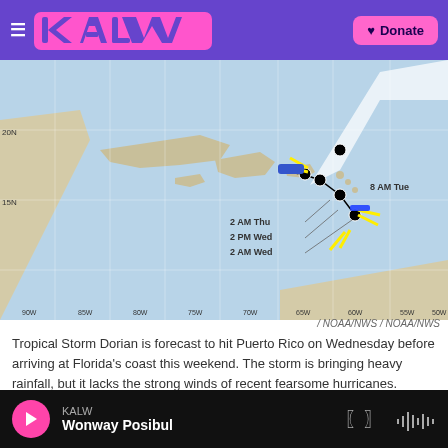KALW (logo) | Donate
[Figure (map): NOAA/NWS hurricane track forecast map showing Tropical Storm Dorian path from the Caribbean toward Puerto Rico and Florida, with time labels: 2 AM Wed, 2 PM Wed, 2 AM Thu, 8 AM Tue]
/ NOAA/NWS / NOAA/NWS
Tropical Storm Dorian is forecast to hit Puerto Rico on Wednesday before arriving at Florida's coast this weekend. The storm is bringing heavy rainfall, but it lacks the strong winds of recent fearsome hurricanes.
Despite maintaining a compact, roughly circular shape, Dorian has not developed a well-defined